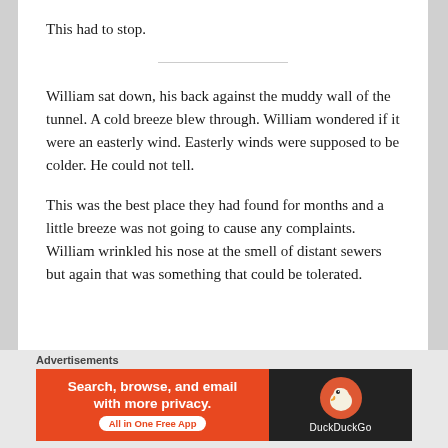This had to stop.
William sat down, his back against the muddy wall of the tunnel. A cold breeze blew through. William wondered if it were an easterly wind. Easterly winds were supposed to be colder. He could not tell.
This was the best place they had found for months and a little breeze was not going to cause any complaints. William wrinkled his nose at the smell of distant sewers but again that was something that could be tolerated.
[Figure (infographic): DuckDuckGo advertisement banner: orange left panel with text 'Search, browse, and email with more privacy.' and 'All in One Free App' pill button; dark right panel with DuckDuckGo duck logo and brand name.]